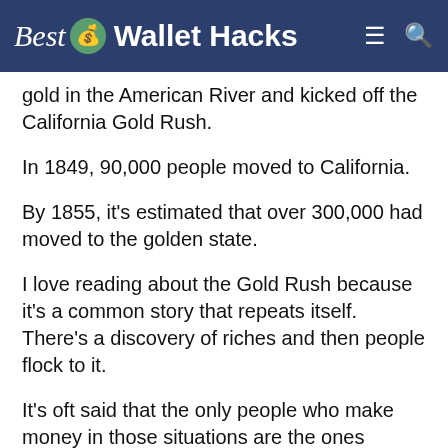Best Wallet Hacks
gold in the American River and kicked off the California Gold Rush.
In 1849, 90,000 people moved to California.
By 1855, it's estimated that over 300,000 had moved to the golden state.
I love reading about the Gold Rush because it's a common story that repeats itself. There's a discovery of riches and then people flock to it.
It's oft said that the only people who make money in those situations are the ones selling the pickaxes and the shovels.